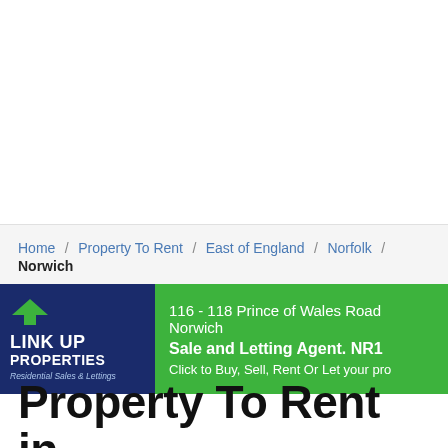Home / Property To Rent / East of England / Norfolk / Norwich
[Figure (other): Link Up Properties advertisement banner. Left side: dark blue background with green house icon logo, text 'LINK UP PROPERTIES Residential Sales & Lettings'. Right side: green background with text '116 - 118 Prince of Wales Road Norwich', 'Sale and Letting Agent. NR1', 'Click to Buy, Sell, Rent Or Let your pro']
Property To Rent in Norwich, Norfolk